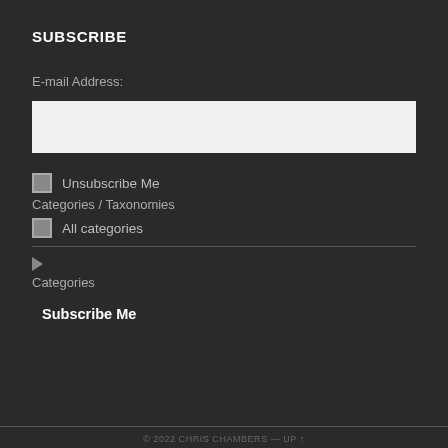SUBSCRIBE
E-mail Address:
Unsubscribe Me
Categories / Taxonomies
All categories
▶ Categories
Subscribe Me
© 2022 CHRIS CHAMBERS — UP ↑